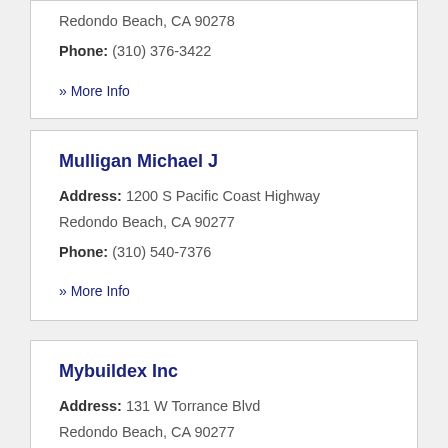Redondo Beach, CA 90278
Phone: (310) 376-3422
» More Info
Mulligan Michael J
Address: 1200 S Pacific Coast Highway Redondo Beach, CA 90277
Phone: (310) 540-7376
» More Info
Mybuildex Inc
Address: 131 W Torrance Blvd Redondo Beach, CA 90277
Phone: (310) 970-4809